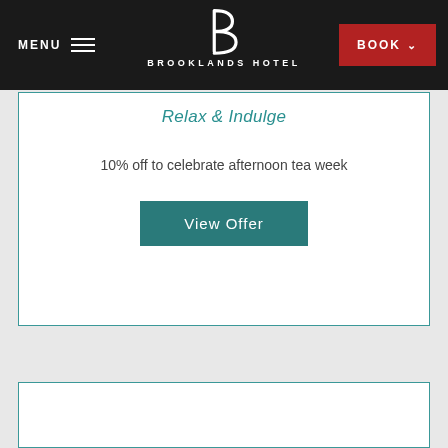MENU | BROOKLANDS HOTEL | BOOK
Relax & Indulge
10% off to celebrate afternoon tea week
View Offer